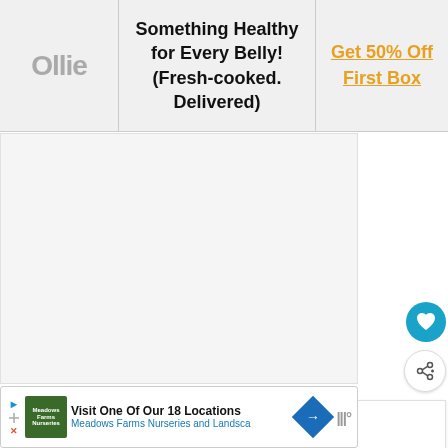[Figure (screenshot): Advertisement banner with Ollie logo on left, center text 'Something Healthy for Every Belly! (Fresh-cooked. Delivered)', and right cell with 'Get 50% Off First Box' link in orange]
[Figure (screenshot): Gray content area placeholder, with floating heart button (teal circle) and share button (white circle), a 'What's Next' panel showing '7 Ways How To Identify a...' with a dog thumbnail, and a bottom ad for Meadows Farms Nurseries and Landscape]